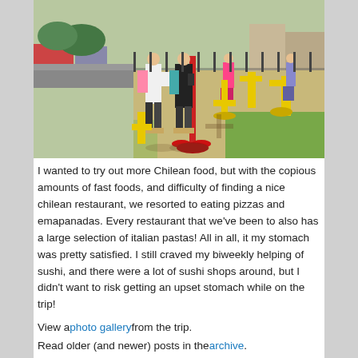[Figure (photo): Outdoor public fitness equipment area in a park. Several people, mostly young women with backpacks, are using red and yellow exercise machines on a paved area next to a green lawn. Buildings visible in the background.]
I wanted to try out more Chilean food, but with the copious amounts of fast foods, and difficulty of finding a nice chilean restaurant, we resorted to eating pizzas and emapanadas. Every restaurant that we've been to also has a large selection of italian pastas! All in all, it my stomach was pretty satisfied. I still craved my biweekly helping of sushi, and there were a lot of sushi shops around, but I didn't want to risk getting an upset stomach while on the trip!
View a photo gallery from the trip.
Read older (and newer) posts in the archive.